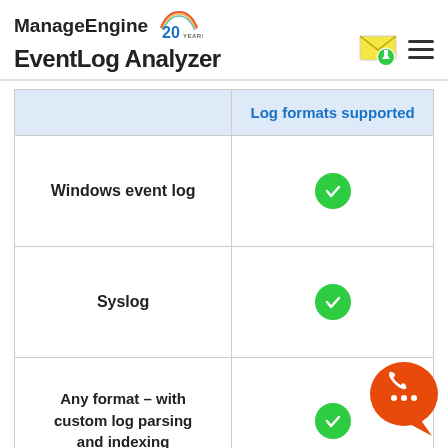ManageEngine EventLog Analyzer
|  | Log formats supported |
| --- | --- |
| Windows event log | ✓ |
| Syslog | ✓ |
| Any format – with custom log parsing and indexing | ✓ |
[Figure (illustration): Orange chat/phone support bubble widget in bottom-right corner]